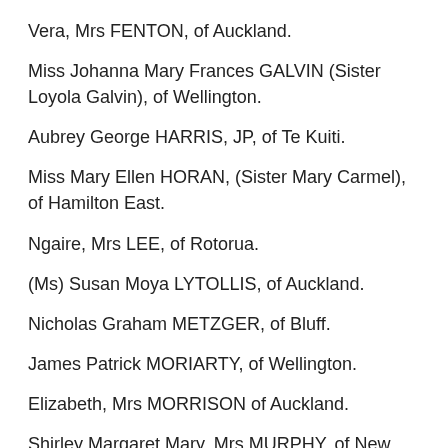Vera, Mrs FENTON, of Auckland.
Miss Johanna Mary Frances GALVIN (Sister Loyola Galvin), of Wellington.
Aubrey George HARRIS, JP, of Te Kuiti.
Miss Mary Ellen HORAN, (Sister Mary Carmel), of Hamilton East.
Ngaire, Mrs LEE, of Rotorua.
(Ms) Susan Moya LYTOLLIS, of Auckland.
Nicholas Graham METZGER, of Bluff.
James Patrick MORIARTY, of Wellington.
Elizabeth, Mrs MORRISON of Auckland.
Shirley Margaret Mary, Mrs MURPHY, of New